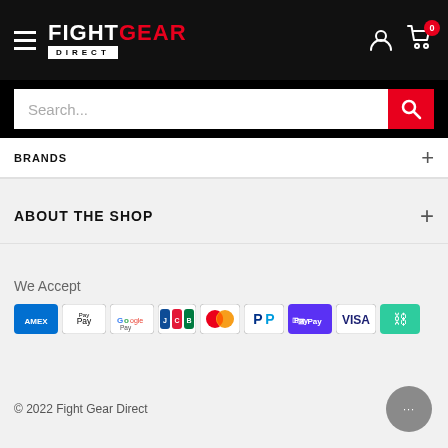FIGHTGEAR DIRECT - navigation header with hamburger menu, logo, user icon, cart icon (0 items)
Search...
BRANDS +
ABOUT THE SHOP +
We Accept
[Figure (other): Payment method icons: American Express, Apple Pay, Google Pay, JCB, Mastercard, PayPal, Shop Pay, Visa, and a chain-link/affiliate icon]
© 2022 Fight Gear Direct